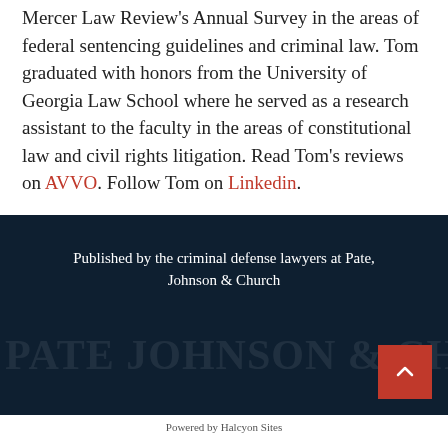Mercer Law Review's Annual Survey in the areas of federal sentencing guidelines and criminal law. Tom graduated with honors from the University of Georgia Law School where he served as a research assistant to the faculty in the areas of constitutional law and civil rights litigation. Read Tom's reviews on AVVO. Follow Tom on Linkedin.
Published by the criminal defense lawyers at Pate, Johnson & Church
Powered by Halcyon Sites